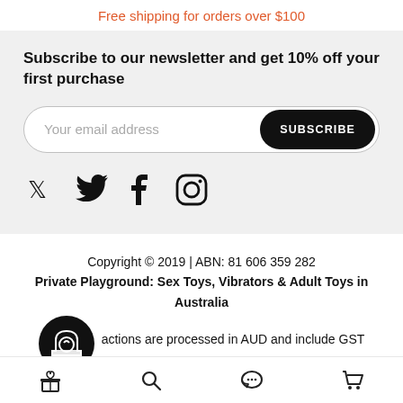Free shipping for orders over $100
Subscribe to our newsletter and get 10% off your first purchase
[Figure (other): Email subscription form with placeholder 'Your email address' and black SUBSCRIBE button]
[Figure (other): Social media icons: Twitter, Facebook, Instagram]
Copyright © 2019 | ABN: 81 606 359 282
Private Playground: Sex Toys, Vibrators & Adult Toys in Australia
actions are processed in AUD and include GST
[Figure (other): Bottom navigation bar with gift, search, chat, and cart icons]